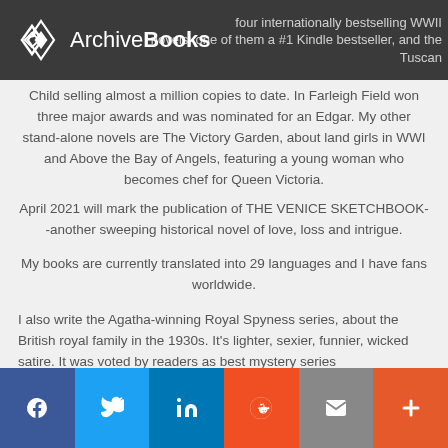ArchiveBooks
four internationally bestselling WWII novels, one of them a #1 Kindle bestseller, and the Tuscan Child selling almost a million copies to date. In Farleigh Field won three major awards and was nominated for an Edgar. My other stand-alone novels are The Victory Garden, about land girls in WWI and Above the Bay of Angels, featuring a young woman who becomes chef for Queen Victoria. April 2021 will mark the publication of THE VENICE SKETCHBOOK--another sweeping historical novel of love, loss and intrigue.
My books are currently translated into 29 languages and I have fans worldwide.
I also write the Agatha-winning Royal Spyness series, about the British royal family in the 1930s. It's lighter, sexier, funnier, wicked satire. It was voted by readers as best mystery series
f  [Twitter]  in  [Reddit]  [Email]  +